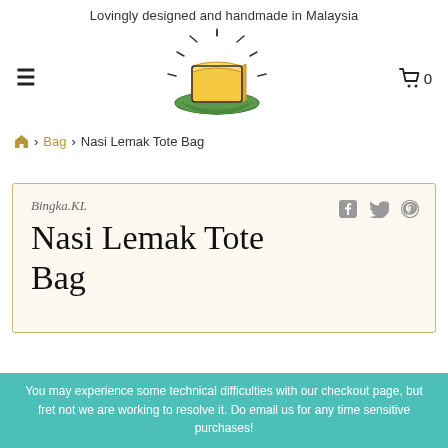Lovingly designed and handmade in Malaysia
[Figure (logo): Logo of Bingka.KL: illustrated nasi lemak (yellow cake on green leaf) with radiating lines, hand-drawn style]
≡   🛒 0
🏠 › Bag › Nasi Lemak Tote Bag
Bingka.KL
Nasi Lemak Tote Bag
Share icons: Facebook, Twitter, Pinterest
You may experience some technical difficulties with our checkout page, but fret not we are working to resolve it. Do email us for any time sensitive purchases!